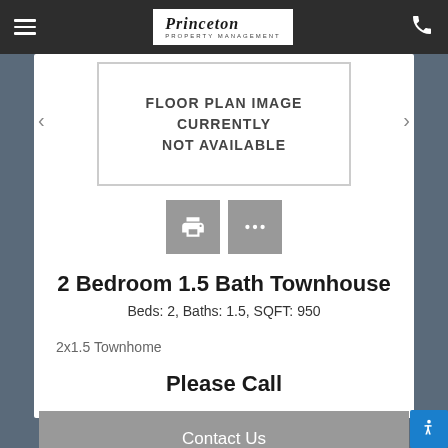Princeton Property Management
[Figure (other): Floor plan image placeholder box with text: FLOOR PLAN IMAGE CURRENTLY NOT AVAILABLE]
2 Bedroom 1.5 Bath Townhouse
Beds: 2, Baths: 1.5, SQFT: 950
2x1.5 Townhome
Please Call
Contact Us